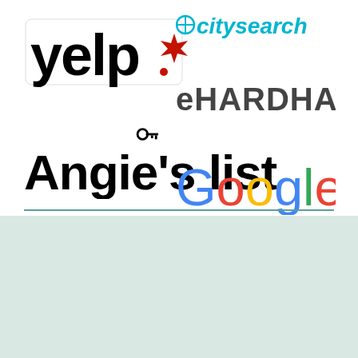[Figure (logo): Yelp logo in black with red burst icon]
[Figure (logo): Citysearch logo in cyan/teal text]
[Figure (logo): eHARDHAT logo in dark gray bold text]
[Figure (logo): Angie's List logo in black with key icon above apostrophe]
[Figure (logo): Google logo in multicolor]
Service Map
[Figure (map): Service map image placeholder]
Service Areas
Wilmington, CA
Signal Hill, CA
San Pedro, CA
Harbor City, CA
Carson, CA
Rancho Palos Verdes, CA